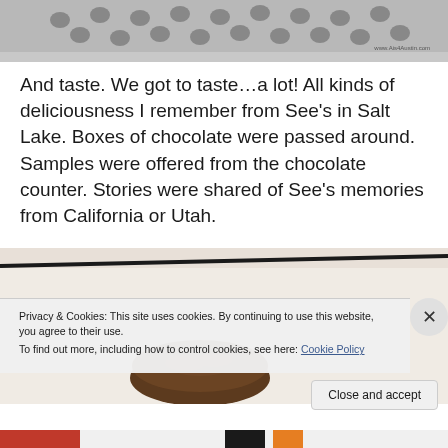[Figure (photo): Top portion of a metal colander/strainer with holes visible, partially cropped at top of page. Watermark reads www.Ais4Austin.com]
And taste. We got to taste…a lot!  All kinds of deliciousness I remember from See's in Salt Lake. Boxes of chocolate were passed around. Samples were offered from the chocolate counter. Stories were shared of See's memories from California or Utah.
[Figure (photo): Close-up photo of a chocolate candy/truffle on a light background, partially visible. A cookie banner overlay covers the lower portion.]
Privacy & Cookies: This site uses cookies. By continuing to use this website, you agree to their use.
To find out more, including how to control cookies, see here: Cookie Policy
Close and accept